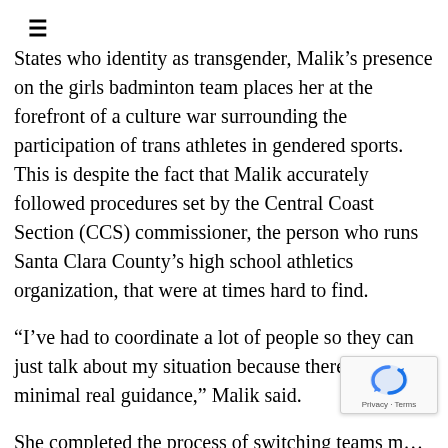≡
States who identity as transgender, Malik's presence on the girls badminton team places her at the forefront of a culture war surrounding the participation of trans athletes in gendered sports. This is despite the fact that Malik accurately followed procedures set by the Central Coast Section (CCS) commissioner, the person who runs Santa Clara County's high school athletics organization, that were at times hard to find.
“I’ve had to coordinate a lot of people so they can just talk about my situation because there is minimal real guidance,” Malik said.
She completed the process of switching teams m… season. To do this, CCS required a witnessed …